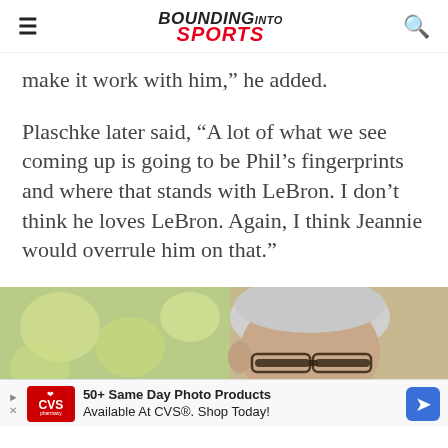BOUNDING INTO SPORTS
make it work with him,” he added.
Plaschke later said, “A lot of what we see coming up is going to be Phil’s fingerprints and where that stands with LeBron. I don’t think he loves LeBron. Again, I think Jeannie would overrule him on that.”
[Figure (photo): Close-up photo of an older man with gray hair and glasses, photographed indoors with a blurred green and beige background.]
[Figure (infographic): Advertisement banner for CVS: '50+ Same Day Photo Products Available At CVS®. Shop Today!']